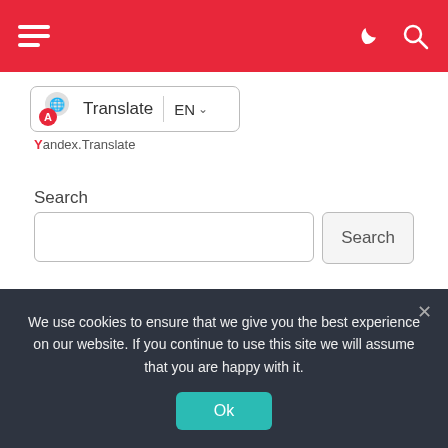Navigation bar with hamburger menu, moon icon, and search icon
[Figure (screenshot): Yandex Translate widget showing translation button with globe/A icon, EN language selector with dropdown chevron, and Yandex.Translate label below]
Search
Search input field with Search button
Recent Posts
Cross-boundary subsidy
We use cookies to ensure that we give you the best experience on our website. If you continue to use this site we will assume that you are happy with it.
Ok